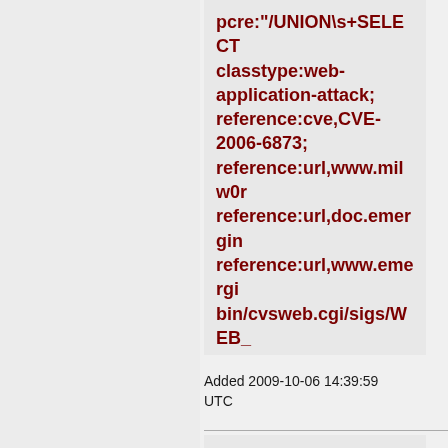pcre:"/UNION\s+SELECT classtype:web-application-attack; reference:cve,CVE-2006-6873; reference:url,www.milw0r reference:url,doc.emergin reference:url,www.emergi bin/cvsweb.cgi/sigs/WEB_ sid:2005926; rev:5;)
Added 2009-10-06 14:39:59 UTC
alert tcp $EXTERNAL_NET any -> $HTTP_SERVERS $HTTP_PORTS (msg"ET